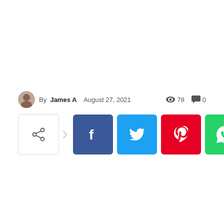By James A  August 27, 2021   👁 78   💬 0
[Figure (infographic): Social share buttons row: share icon button with arrow, Facebook (blue), Twitter (light blue), Pinterest (red), WhatsApp (green)]